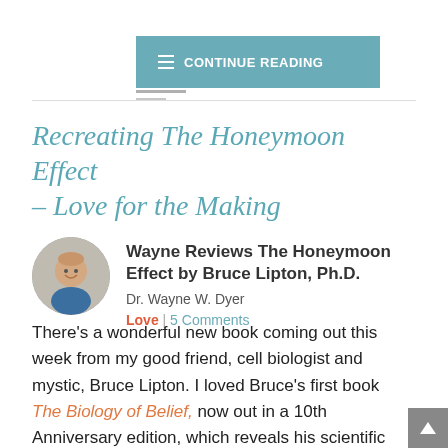CONTINUE READING
Recreating The Honeymoon Effect – Love for the Making
Wayne Reviews The Honeymoon Effect by Bruce Lipton, Ph.D.
Dr. Wayne W. Dyer
Love | 5 Comments
There's a wonderful new book coming out this week from my good friend, cell biologist and mystic, Bruce Lipton. I loved Bruce's first book The Biology of Belief, now out in a 10th Anniversary edition, which reveals his scientific findings on the power of belief to shape our lives. Science revealing that our thoughts can